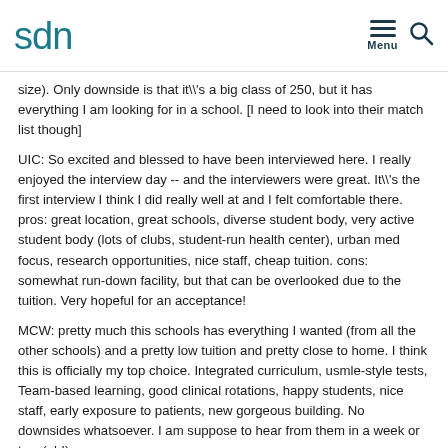sdn
size). Only downside is that it\'s a big class of 250, but it has everything I am looking for in a school. [I need to look into their match list though]
UIC: So excited and blessed to have been interviewed here. I really enjoyed the interview day -- and the interviewers were great. It\'s the first interview I think I did really well at and I felt comfortable there. pros: great location, great schools, diverse student body, very active student body (lots of clubs, student-run health center), urban med focus, research opportunities, nice staff, cheap tuition. cons: somewhat run-down facility, but that can be overlooked due to the tuition. Very hopeful for an acceptance!
MCW: pretty much this schools has everything I wanted (from all the other schools) and a pretty low tuition and pretty close to home. I think this is officially my top choice. Integrated curriculum, usmle-style tests, Team-based learning, good clinical rotations, happy students, nice staff, early exposure to patients, new gorgeous building. No downsides whatsoever. I am suppose to hear from them in a week or two (ah!)
ATSU KCOM: Had two one-hour interviews and 1 30-minute